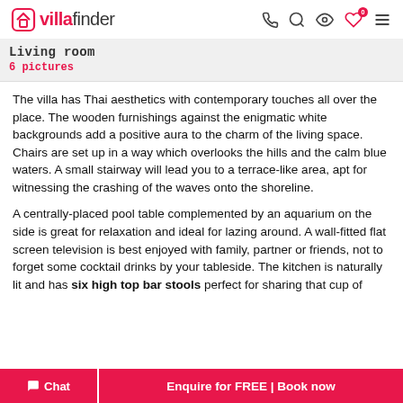villa finder
Living room
6 pictures
The villa has Thai aesthetics with contemporary touches all over the place. The wooden furnishings against the enigmatic white backgrounds add a positive aura to the charm of the living space. Chairs are set up in a way which overlooks the hills and the calm blue waters. A small stairway will lead you to a terrace-like area, apt for witnessing the crashing of the waves onto the shoreline.
A centrally-placed pool table complemented by an aquarium on the side is great for relaxation and ideal for lazing around. A wall-fitted flat screen television is best enjoyed with family, partner or friends, not to forget some cocktail drinks by your tableside. The kitchen is naturally lit and has six high top bar stools perfect for sharing that cup of
Chat | Enquire for FREE | Book now